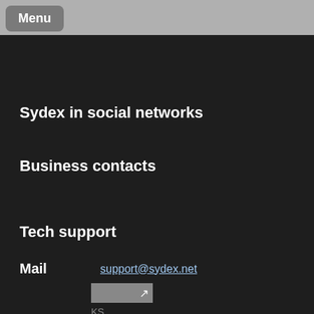Menu
Sydex in social networks
Business contacts
Tech support
Mail   support@sydex.net
KS